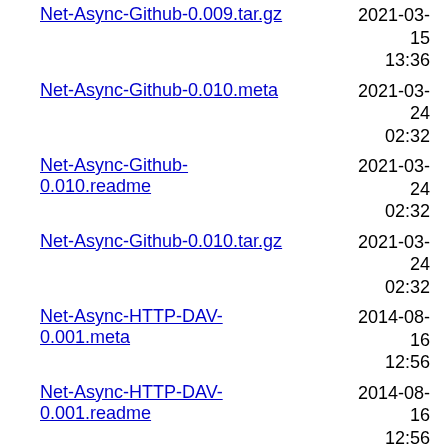Net-Async-Github-0.009.tar.gz  2021-03-15 13:36  34K
Net-Async-Github-0.010.meta  2021-03-24 02:32  4.4K
Net-Async-Github-0.010.readme  2021-03-24 02:32  6.8K
Net-Async-Github-0.010.tar.gz  2021-03-24 02:32  34K
Net-Async-HTTP-DAV-0.001.meta  2014-08-16 12:56  1.9K
Net-Async-HTTP-DAV-0.001.readme  2014-08-16 12:56  374
Net-Async-HTTP-DAV-0.001.tar.gz  2014-08-16 12:56  19K
Net-Async-IMAP-0.001.meta  2010-12-29 02:38  493
Net-Async-IMAP-0.001.readme  2010-12-29 02:38  294
Net-Async-IMAP-0.001.tar.gz  2010-12-29 02:37  11K
Net-Async-IMAP-0.002.meta  2011-01-05 03:07  513
Net-Async-IMAP-0.002.readme  2011-01-05  296